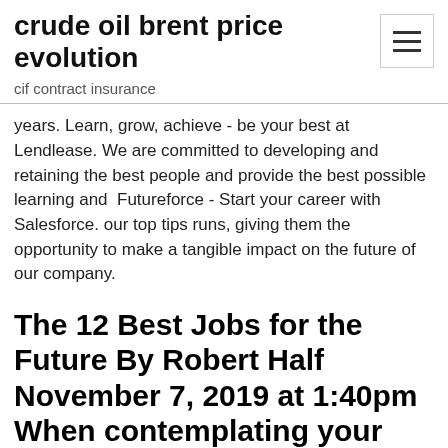crude oil brent price evolution
cif contract insurance
years. Learn, grow, achieve - be your best at Lendlease. We are committed to developing and retaining the best people and provide the best possible learning and  Futureforce - Start your career with Salesforce. our top tips runs, giving them the opportunity to make a tangible impact on the future of our company.
The 12 Best Jobs for the Future By Robert Half November 7, 2019 at 1:40pm When contemplating your career plans, focus not only on the kind of work that fits you well now but also on what offers a path to the best jobs of the